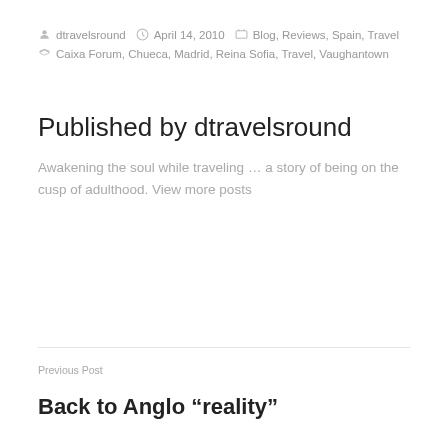dtravelsround   April 14, 2010   Blog, Reviews, Spain, Travel
Caixa Forum, Chueca, Madrid, Reina Sofia, Travel, Vaughantown
Published by dtravelsround
Awakening the soul while traveling … a story of being on the cusp of adulthood. View more posts
Previous Post
Back to Anglo “reality”